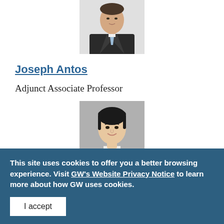[Figure (photo): Headshot of a man in a dark suit with a light blue tie, cropped at the shoulders, partial view from the top of the page.]
Joseph Antos
Adjunct Associate Professor
[Figure (photo): Headshot of an Asian woman with short dark hair, wearing a brown jacket, smiling at the camera against a gray background.]
This site uses cookies to offer you a better browsing experience. Visit GW's Website Privacy Notice to learn more about how GW uses cookies.
I accept